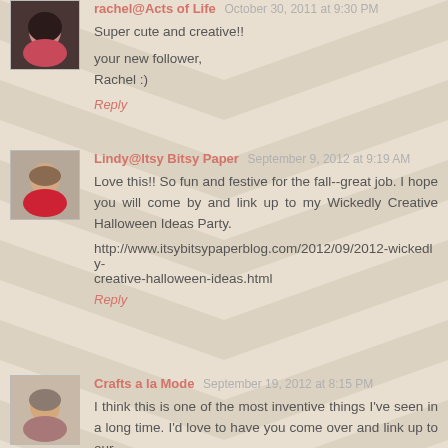rachel@Acts of Life  October 30, 2011 at 9:30 PM
Super cute and creative!!

your new follower,
Rachel :)

Reply
Lindy@Itsy Bitsy Paper  September 9, 2012 at 9:19 AM
Love this!! So fun and festive for the fall--great job. I hope you will come by and link up to my Wickedly Creative Halloween Ideas Party.

http://www.itsybitsypaperblog.com/2012/09/2012-wickedly-creative-halloween-ideas.html

Reply
Crafts a la Mode  September 19, 2012 at 8:15 PM
I think this is one of the most inventive things I've seen in a long time. I'd love to have you come over and link up to our